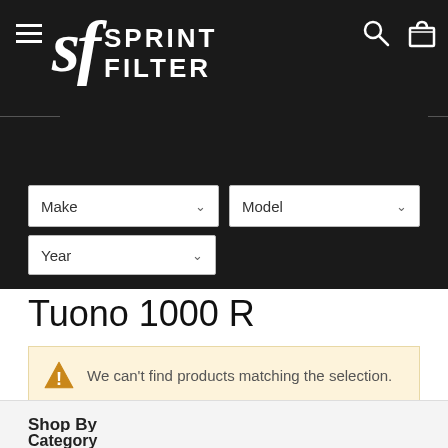sf SPRINT FILTER
[Figure (screenshot): Sprint Filter website navigation header with hamburger menu icon, Sprint Filter logo in white on dark background, search icon and shopping bag icon]
[Figure (screenshot): Filter bar with Make, Model, and Year dropdown selectors on dark background]
Tuono 1000 R
We can't find products matching the selection.
Shop By
Category